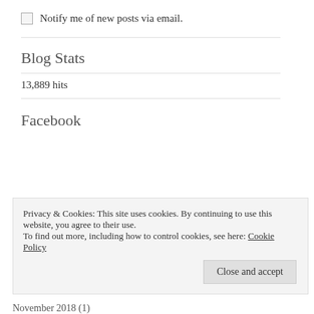Notify me of new posts via email.
Blog Stats
13,889 hits
Facebook
Privacy & Cookies: This site uses cookies. By continuing to use this website, you agree to their use.
To find out more, including how to control cookies, see here: Cookie Policy
Close and accept
November 2018 (1)